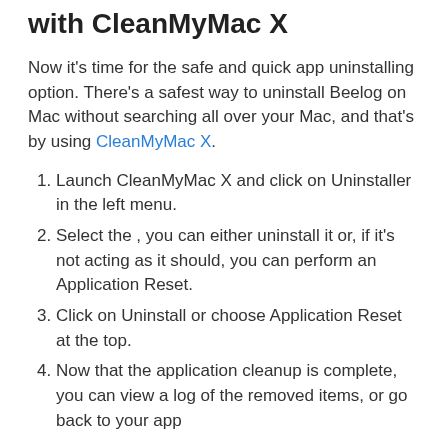with CleanMyMac X
Now it's time for the safe and quick app uninstalling option. There's a safest way to uninstall Beelog on Mac without searching all over your Mac, and that's by using CleanMyMac X.
Launch CleanMyMac X and click on Uninstaller in the left menu.
Select the , you can either uninstall it or, if it's not acting as it should, you can perform an Application Reset.
Click on Uninstall or choose Application Reset at the top.
Now that the application cleanup is complete, you can view a log of the removed items, or go back to your app